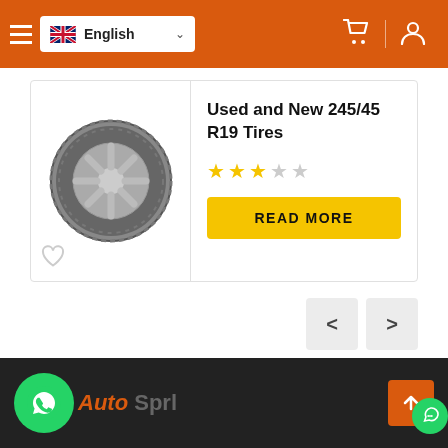English (language selector)
Used and New 245/45 R19 Tires
READ MORE
Previous product
Next product
Auto Sprl